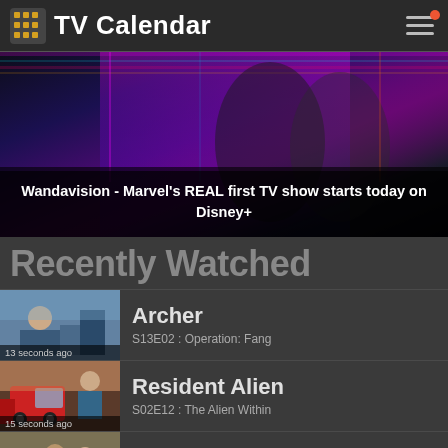TV Calendar
[Figure (screenshot): Wandavision banner image showing two characters in black and white with colorful psychedelic background]
Wandavision - Marvel's REAL first TV show starts today on Disney+
Recently Watched
Archer - S13E02 : Operation: Fang - 13 seconds ago
Resident Alien - S02E12 : The Alien Within - 15 seconds ago
This Is Us - S06E12 : Katoby - 56 seconds ago